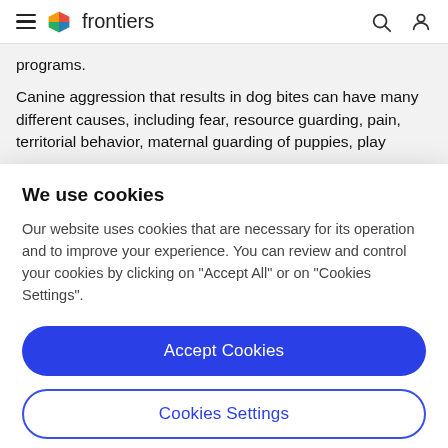frontiers
programs.
Canine aggression that results in dog bites can have many different causes, including fear, resource guarding, pain, territorial behavior, maternal guarding of puppies, play
We use cookies
Our website uses cookies that are necessary for its operation and to improve your experience. You can review and control your cookies by clicking on "Accept All" or on "Cookies Settings".
Accept Cookies
Cookies Settings